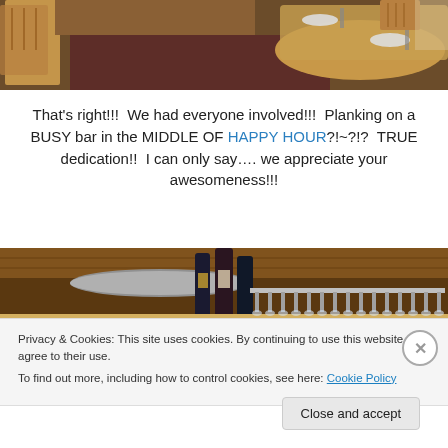[Figure (photo): Interior of a restaurant dining area with wooden chairs and round tables on a dark carpet, viewed from an angle.]
That's right!!!  We had everyone involved!!!  Planking on a BUSY bar in the MIDDLE OF HAPPY HOUR?!~?!?  TRUE dedication!!  I can only say…. we appreciate your awesomeness!!!
[Figure (photo): Interior of a bar showing wine bottles and hanging glasses rack against wood-paneled ceiling.]
Privacy & Cookies: This site uses cookies. By continuing to use this website, you agree to their use.
To find out more, including how to control cookies, see here: Cookie Policy
Close and accept